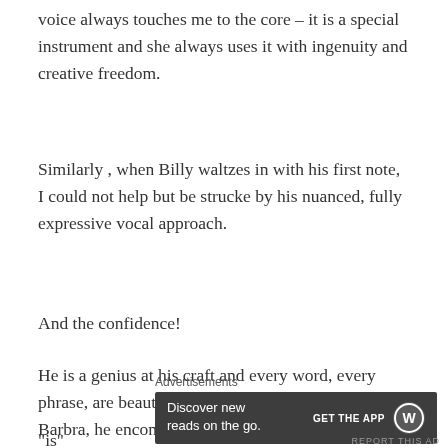voice always touches me to the core – it is a special instrument and she always uses it with ingenuity and creative freedom.
Similarly , when Billy waltzes in with his first note, I could not help but be strucke by his nuanced, fully expressive vocal approach.
And the confidence!
He is a genius at his craft and every word, every phrase, are beautifully shaped with finesse. Like Barbra, he encompasses a committed narrative approach to his vocal music and, in many ways, this cannot be taught. It just "is"
Advertisements
[Figure (screenshot): Advertisement banner: 'Discover new reads on the go.' with GET THE APP button and WordPress logo on dark background]